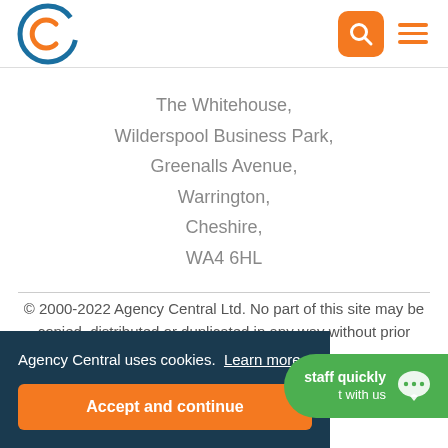Agency Central logo, search button, hamburger menu
The Whitehouse,
Wilderspool Business Park,
Greenalls Avenue,
Warrington,
Cheshire,
WA4 6HL
© 2000-2022 Agency Central Ltd. No part of this site may be copied, distributed or duplicated in any way without prior consent of the owner
Agency Central uses cookies. Learn more
Accept and continue
staff quickly
t with us